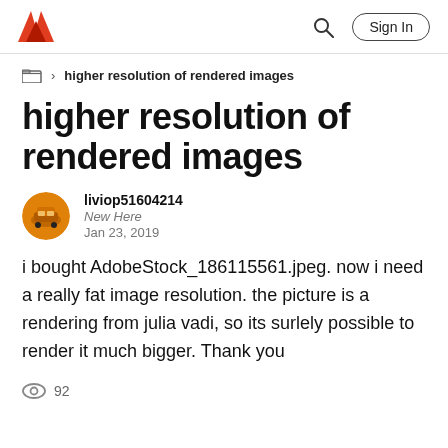Adobe community navigation bar with logo, search, and Sign In button
higher resolution of rendered images (breadcrumb)
higher resolution of rendered images
liviop51604214
New Here
Jan 23, 2019
i bought AdobeStock_186115561.jpeg. now i need a really fat image resolution. the picture is a rendering from julia vadi, so its surlely possible to render it much bigger. Thank you
92